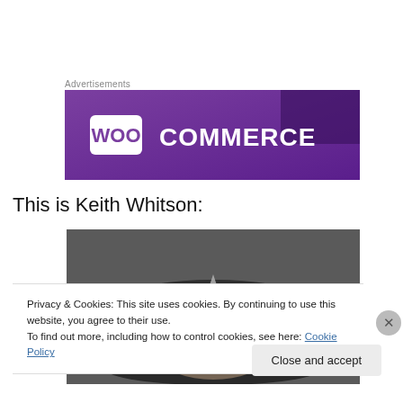Advertisements
[Figure (logo): WooCommerce advertisement banner with purple gradient background and WooCommerce logo in white text]
This is Keith Whitson:
[Figure (photo): Black and white photo of a person wearing a police hat with a badge/star emblem visible on the cap]
Privacy & Cookies: This site uses cookies. By continuing to use this website, you agree to their use.
To find out more, including how to control cookies, see here: Cookie Policy
Close and accept